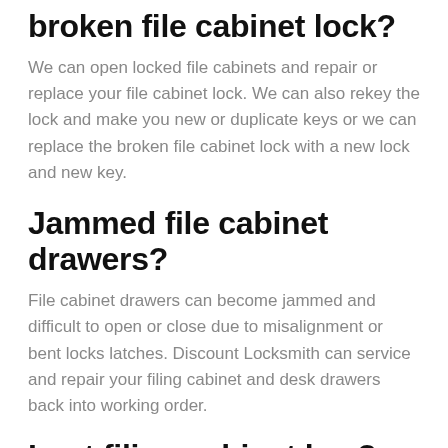broken file cabinet lock?
We can open locked file cabinets and repair or replace your file cabinet lock. We can also rekey the lock and make you new or duplicate keys or we can replace the broken file cabinet lock with a new lock and new key.
Jammed file cabinet drawers?
File cabinet drawers can become jammed and difficult to open or close due to misalignment or bent locks latches. Discount Locksmith can service and repair your filing cabinet and desk drawers back into working order.
Lost filing cabinet key?
If you've lost or broken your filing cabinet keys or the if the